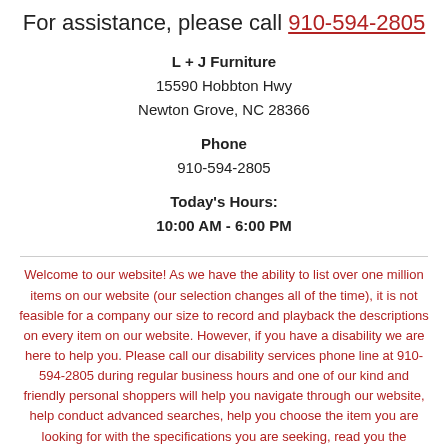For assistance, please call 910-594-2805
L + J Furniture
15590 Hobbton Hwy
Newton Grove, NC 28366
Phone
910-594-2805
Today's Hours:
10:00 AM - 6:00 PM
Welcome to our website! As we have the ability to list over one million items on our website (our selection changes all of the time), it is not feasible for a company our size to record and playback the descriptions on every item on our website. However, if you have a disability we are here to help you. Please call our disability services phone line at 910-594-2805 during regular business hours and one of our kind and friendly personal shoppers will help you navigate through our website, help conduct advanced searches, help you choose the item you are looking for with the specifications you are seeking, read you the specifications of any item and consult with you about the products themselves. There is no charge for the help of this personal shopper for anyone with a disability. Finally, your personal shopper will explain our Privacy Policy and Terms of Service, and help you place an order if you so desire.